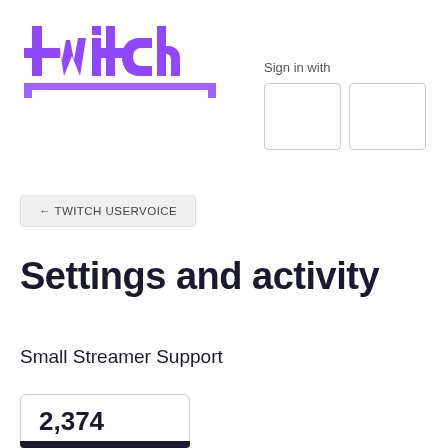[Figure (logo): Twitch logo in purple]
Sign in with
← TWITCH USERVOICE
Settings and activity
Small Streamer Support
2,374